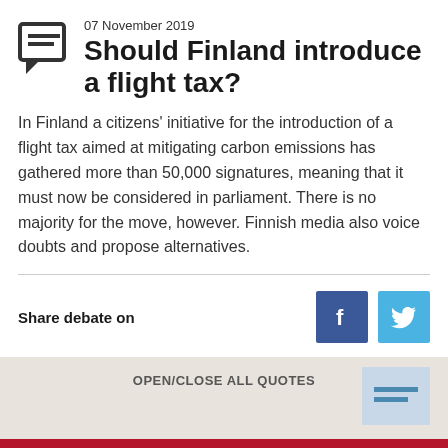07 November 2019
Should Finland introduce a flight tax?
In Finland a citizens' initiative for the introduction of a flight tax aimed at mitigating carbon emissions has gathered more than 50,000 signatures, meaning that it must now be considered in parliament. There is no majority for the move, however. Finnish media also voice doubts and propose alternatives.
Share debate on
OPEN/CLOSE ALL QUOTES
SUBSCRIBE TO THE PRESS REVIEW